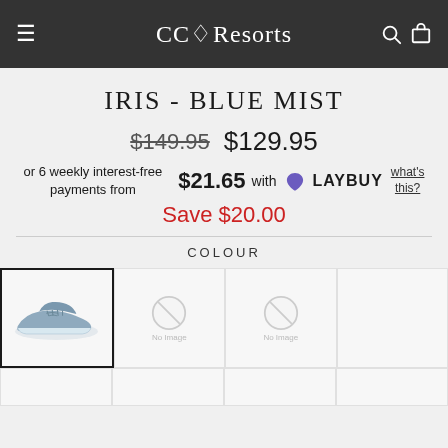CC◇Resorts
IRIS - BLUE MIST
$149.95  $129.95
or 6 weekly interest-free payments from $21.65 with LAYBUY what's this?
Save $20.00
COLOUR
[Figure (photo): Blue mist sneaker shoe - selected colour swatch]
[Figure (photo): No image placeholder swatch 1]
[Figure (photo): No image placeholder swatch 2]
[Figure (photo): Empty colour swatch row bottom]